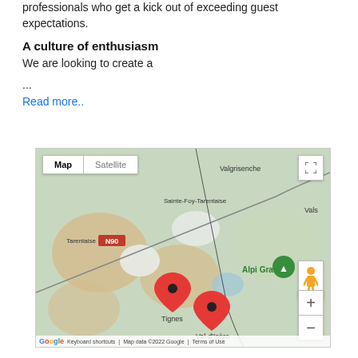professionals who get a kick out of exceeding guest expectations.
A culture of enthusiasm
We are looking to create a
...
Read more..
[Figure (map): Google Maps showing the Tignes and Val-d'Isère area in the French Alps, with map/satellite toggle, street view, zoom controls, and two red location pins labeled Tignes and Val-d'Isère. Place names include Valgrisenche, Sainte-Foy-Tarentaise, Tarentaise, Alpi Graie, Vals. Road N90 is shown.]